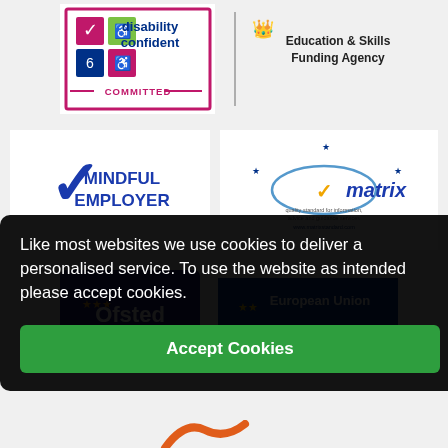[Figure (logo): Disability Confident Committed logo - pink/magenta bordered box with icons and text]
[Figure (logo): Education & Skills Funding Agency logo with crown emblem]
[Figure (logo): Mindful Employer logo - blue checkmark with bold blue text MINDFUL EMPLOYER]
[Figure (logo): Matrix quality standard logo - eclipse/orbit shape with checkmark]
[Figure (logo): Ofsted logo on dark navy background with stars]
[Figure (logo): European Union logo partial - blue background with EU stars]
Like most websites we use cookies to deliver a personalised service. To use the website as intended please accept cookies.
Accept Cookies